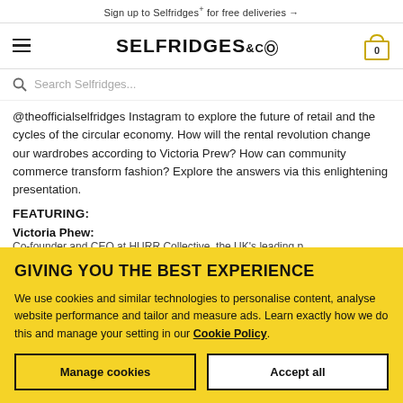Sign up to Selfridges+ for free deliveries →
[Figure (logo): Selfridges & Co logo with hamburger menu and basket icon showing 0 items]
Search Selfridges...
@theofficialselfridges Instagram to explore the future of retail and the cycles of the circular economy. How will the rental revolution change our wardrobes according to Victoria Prew? How can community commerce transform fashion? Explore the answers via this enlightening presentation.
FEATURING:
Victoria Phew:
GIVING YOU THE BEST EXPERIENCE
We use cookies and similar technologies to personalise content, analyse website performance and tailor and measure ads. Learn exactly how we do this and manage your setting in our Cookie Policy.
Manage cookies
Accept all